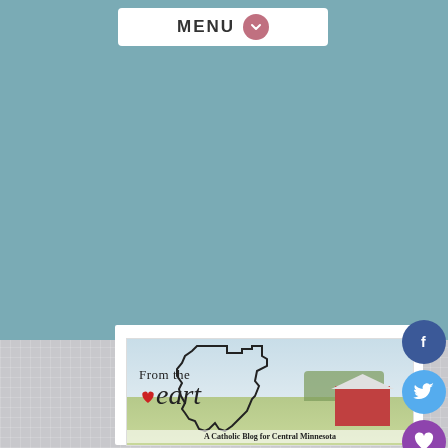MENU
[Figure (screenshot): Blog logo image showing outline of Minnesota state with 'From the Heart' text and a red heart, overlaid on a photo of a red barn and farm field. Below reads 'A Catholic Blog for Central Minnesota']
[Figure (illustration): Social media share buttons: Facebook (dark blue circle with f), Twitter (light blue circle with bird), Favorites/heart (purple circle with heart), Print (dark navy circle with printer icon)]